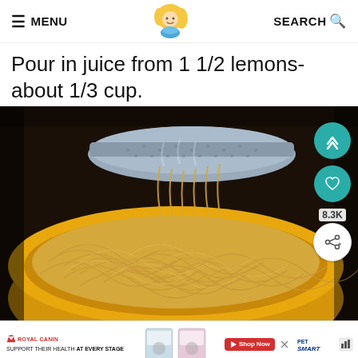≡ MENU   SEARCH 🔍
Pour in juice from 1 1/2 lemons- about 1/3 cup.
[Figure (photo): Photo of pasta spaghetti noodles being poured from a metal colander into a yellow bowl, with steam rising, shot from above and close up. Social action buttons visible on right side: up arrow, heart, 8.3K share count, and share icon.]
[Figure (photo): Royal Canin advertisement banner at bottom: logo, 'SUPPORT THEIR HEALTH AT EVERY STAGE' tagline, pet food product images, PetSmart logo, play button, close button and speaker icon.]